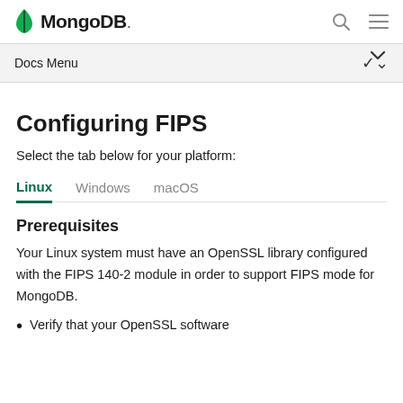MongoDB — Docs Menu
Configuring FIPS
Select the tab below for your platform:
Linux  Windows  macOS
Prerequisites
Your Linux system must have an OpenSSL library configured with the FIPS 140-2 module in order to support FIPS mode for MongoDB.
Verify that your OpenSSL software